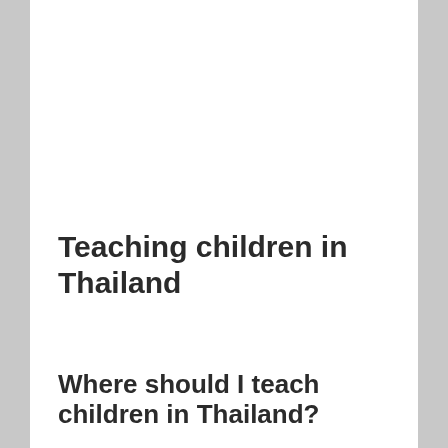Teaching children in Thailand
Where should I teach children in Thailand?